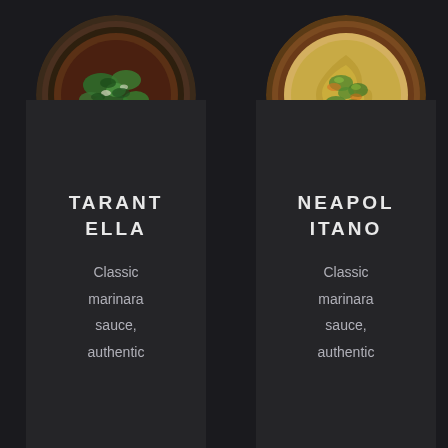[Figure (photo): Top-down photo of a pizza with green herbs and toppings on a dark crust, circular shape]
TARANT ELLA
Classic marinara sauce, authentic
[Figure (photo): Top-down photo of a pizza with yellow/green sauce and toppings on a golden-brown crust, circular shape]
NEAPOL ITANO
Classic marinara sauce, authentic